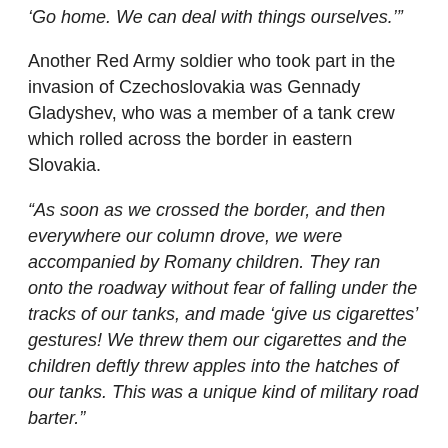‘Go home. We can deal with things ourselves.’”
Another Red Army soldier who took part in the invasion of Czechoslovakia was Gennady Gladyshev, who was a member of a tank crew which rolled across the border in eastern Slovakia.
“As soon as we crossed the border, and then everywhere our column drove, we were accompanied by Romany children. They ran onto the roadway without fear of falling under the tracks of our tanks, and made ‘give us cigarettes’ gestures! We threw them our cigarettes and the children deftly threw apples into the hatches of our tanks. This was a unique kind of military road barter.”
Later, the unit arrived at the town Michalovce, where, just as very much everywhere else, people flocked to the troops and demanded an explanation.